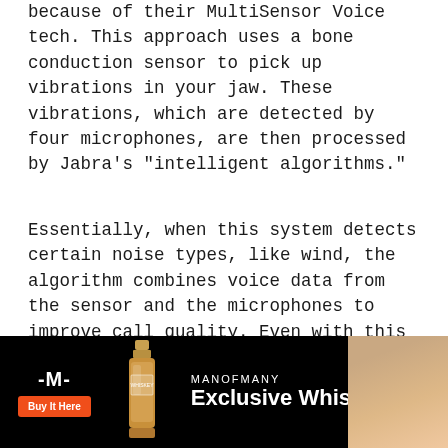because of their MultiSensor Voice tech. This approach uses a bone conduction sensor to pick up vibrations in your jaw. These vibrations, which are detected by four microphones, are then processed by Jabra's "intelligent algorithms."
Essentially, when this system detects certain noise types, like wind, the algorithm combines voice data from the sensor and the microphones to improve call quality. Even with this new tech, however, Jabra somehow found a way to make the Elite 7 Pro 16 per cent smaller than the Elite 75t, their previous smallest earbud. The charging case also got a redesign, making it flatter and pill-shaped.
[Figure (infographic): Advertisement banner for Man of Many Exclusive Whiskey. Black background with Man of Many logo (stylized M symbol), orange 'Buy It Here' button, whiskey bottle illustration, MANOFMANY text, and 'Exclusive Whiskey' headline in bold white text. Partial skin-tone image on the right edge.]